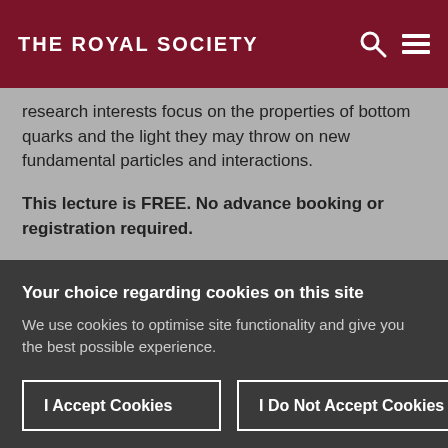THE ROYAL SOCIETY
research interests focus on the properties of bottom quarks and the light they may throw on new fundamental particles and interactions.
This lecture is FREE. No advance booking or registration required.
If you have a question you would like to ask the speaker
Your choice regarding cookies on this site
We use cookies to optimise site functionality and give you the best possible experience.
I Accept Cookies
I Do Not Accept Cookies
Settings